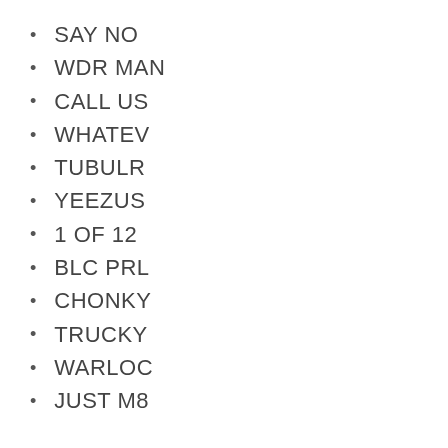SAY NO
WDR MAN
CALL US
WHATEV
TUBULR
YEEZUS
1 OF 12
BLC PRL
CHONKY
TRUCKY
WARLOC
JUST M8